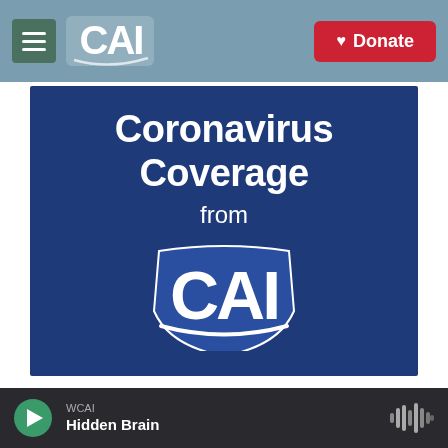[Figure (screenshot): CAI radio station website screenshot showing navigation bar with menu button, CAI logo, and Donate button]
[Figure (illustration): Blue banner reading 'Coronavirus Coverage from CAI' with large white CAI logo]
Reporting, Resources Conversation
WCAI Hidden Brain